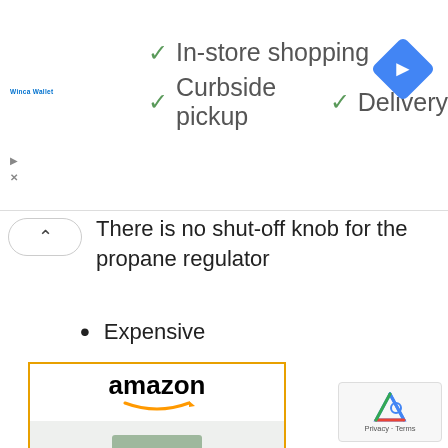[Figure (screenshot): Walmart store ad banner with checkmarks: In-store shopping, Curbside pickup, Delivery. Google Maps navigation diamond icon on right.]
There is no shut-off knob for the propane regulator
Expensive
[Figure (screenshot): Amazon product ad: Eureka! Ignite Portable... $114.95 Prime. Shop now button. Shows green camping stove product image.]
[Figure (logo): Google reCAPTCHA badge. Privacy - Terms.]